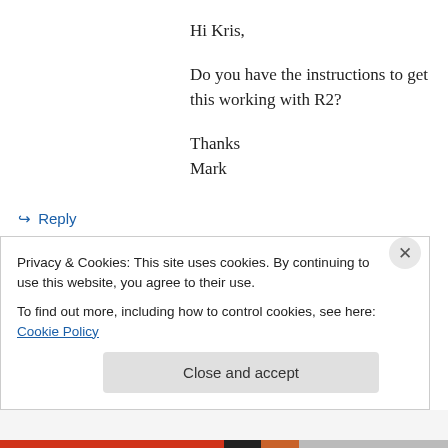Hi Kris,

Do you have the instructions to get this working with R2?

Thanks
Mark
↪ Reply
jbiz on February 12, 2010 at 2:50 pm
Privacy & Cookies: This site uses cookies. By continuing to use this website, you agree to their use.
To find out more, including how to control cookies, see here: Cookie Policy
Close and accept